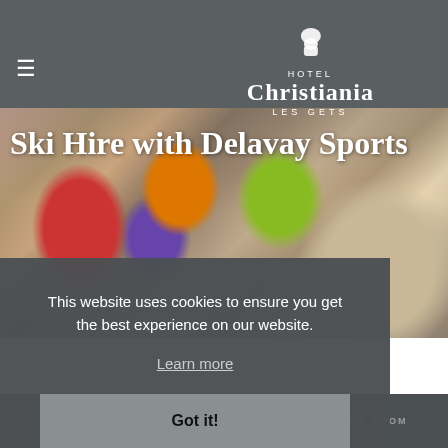Hotel Christiania Les Gets
Ski Hire with Delavay Sports
[Figure (photo): Interior of a ski/sports hire shop showing colorful helmets (red, orange, green, purple) and equipment on display]
This website uses cookies to ensure you get the best experience on our website.
Learn more
Got it!
CONTACT   BOOK HERE   BOOK ROOM